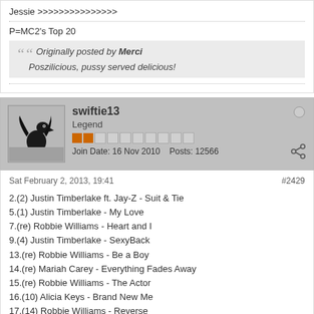Jessie >>>>>>>>>>>>>>>
P=MC2's Top 20
Originally posted by Merci
Poszilicious, pussy served delicious!
swiftie13
Legend
Join Date: 16 Nov 2010  Posts: 12566
Sat February 2, 2013, 19:41  #2429
2.(2) Justin Timberlake ft. Jay-Z - Suit & Tie
5.(1) Justin Timberlake - My Love
7.(re) Robbie Williams - Heart and I
9.(4) Justin Timberlake - SexyBack
13.(re) Robbie Williams - Be a Boy
14.(re) Mariah Carey - Everything Fades Away
15.(re) Robbie Williams - The Actor
16.(10) Alicia Keys - Brand New Me
17.(14) Robbie Williams - Reverse